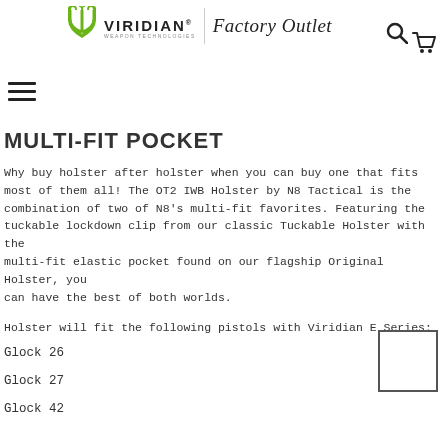[Figure (logo): Viridian Weapon Technologies Factory Outlet logo with green trident/fork icon, bold VIRIDIAN text, and italic Factory Outlet text]
[Figure (other): Search icon (magnifying glass) in top right header]
[Figure (other): Shopping cart icon in top right header]
[Figure (other): Hamburger menu (three horizontal lines) in upper left]
MULTI-FIT POCKET
Why buy holster after holster when you can buy one that fits most of them all! The OT2 IWB Holster by N8 Tactical is the combination of two of N8's multi-fit favorites. Featuring the tuckable lockdown clip from our classic Tuckable Holster with the multi-fit elastic pocket found on our flagship Original Holster, you can have the best of both worlds.
Holster will fit the following pistols with Viridian E Series:
Glock 26
Glock 27
Glock 42